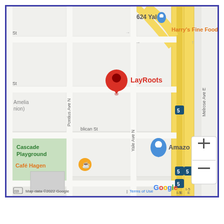[Figure (map): Google Maps screenshot showing the LayRoots location pin in Seattle, WA near I-5, with nearby landmarks including 624 Yale, Harry's Fine Foods, Cascade Playground, Café Hagen, and Amazon. Streets visible include Pontius Ave N, Yale Ave N, Melrose Ave E, and Republican St. Map includes Google logo, zoom controls (+/-), and 'Map data ©2022 Google | Terms of Use' attribution.]